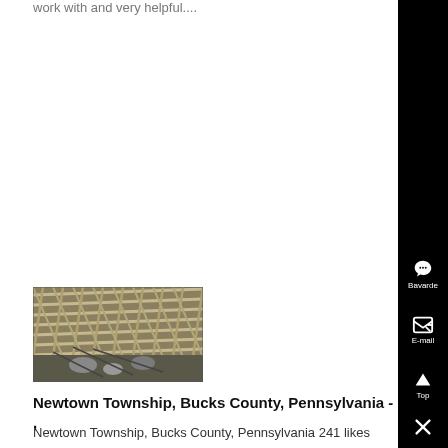work with and very helpful....
[Figure (photo): Construction photo showing a lattice/grid structure of wooden or bamboo slats with wiring, viewed from below or at an angle, with some rocks or concrete visible at the base.]
Newtown Township, Bucks County, Pennsylvania - ,
Newtown Township, Bucks County, Pennsylvania 241 likes